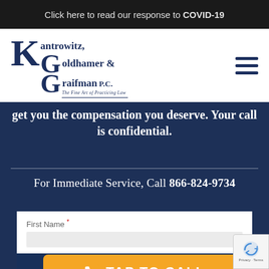Click here to read our response to COVID-19
[Figure (logo): Kantrowitz, Goldhamer & Graifman P.C. law firm logo with tagline 'The Fine Art of Practicing Law']
get you the compensation you deserve. Your call is confidential.
For Immediate Service, Call 866-824-9734
First Name *
TAP TO CALL
Last Name